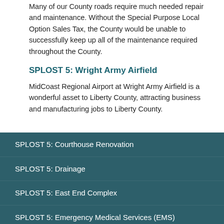Many of our County roads require much needed repair and maintenance. Without the Special Purpose Local Option Sales Tax, the County would be unable to successfully keep up all of the maintenance required throughout the County.
SPLOST 5: Wright Army Airfield
MidCoast Regional Airport at Wright Army Airfield is a wonderful asset to Liberty County, attracting business and manufacturing jobs to Liberty County.
SPLOST 5: Courthouse Renovation
SPLOST 5: Drainage
SPLOST 5: East End Complex
SPLOST 5: Emergency Medical Services (EMS)